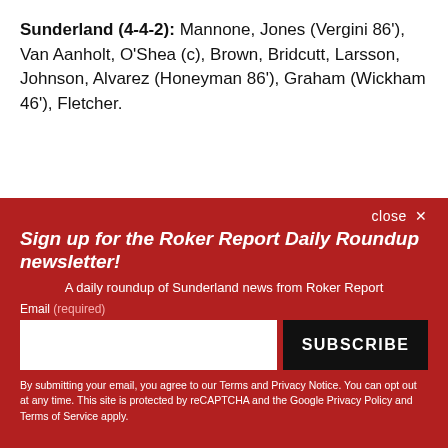Sunderland (4-4-2): Mannone, Jones (Vergini 86'), Van Aanholt, O'Shea (c), Brown, Bridcutt, Larsson, Johnson, Alvarez (Honeyman 86'), Graham (Wickham 46'), Fletcher.
close ✕
Sign up for the Roker Report Daily Roundup newsletter!
A daily roundup of Sunderland news from Roker Report
Email (required)
SUBSCRIBE
By submitting your email, you agree to our Terms and Privacy Notice. You can opt out at any time. This site is protected by reCAPTCHA and the Google Privacy Policy and Terms of Service apply.